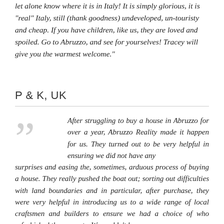let alone know where it is in Italy! It is simply glorious, it is "real" Italy, still (thank goodness) undeveloped, un-touristy and cheap. If you have children, like us, they are loved and spoiled. Go to Abruzzo, and see for yourselves! Tracey will give you the warmest welcome."
P & K, UK
After struggling to buy a house in Abruzzo for over a year, Abruzzo Reality made it happen for us. They turned out to be very helpful in ensuring we did not have any surprises and easing the, sometimes, arduous process of buying a house. They really pushed the boat out; sorting out difficulties with land boundaries and in particular, after purchase, they were very helpful in introducing us to a wide range of local craftsmen and builders to ensure we had a choice of who refurbished the property. We couldn't have